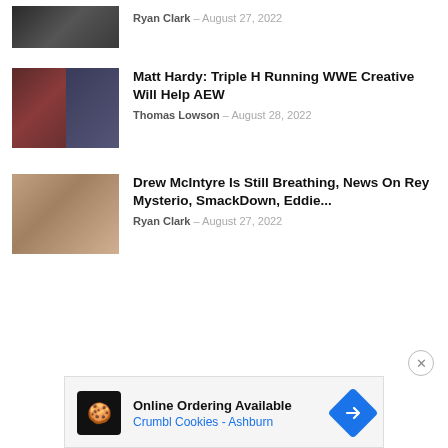[Figure (photo): Partial article thumbnail showing dark wrestling image, top of page]
Ryan Clark - August 27, 2022
[Figure (photo): Split thumbnail: Matt Hardy on left, Triple H in suit on right]
Matt Hardy: Triple H Running WWE Creative Will Help AEW
Thomas Lowson - August 28, 2022
[Figure (photo): Close-up thumbnail of wrestling injury or physical action]
Drew McIntyre Is Still Breathing, News On Rey Mysterio, SmackDown, Eddie...
Ryan Clark - August 27, 2022
[Figure (screenshot): Advertisement: Online Ordering Available - Crumbl Cookies - Ashburn]